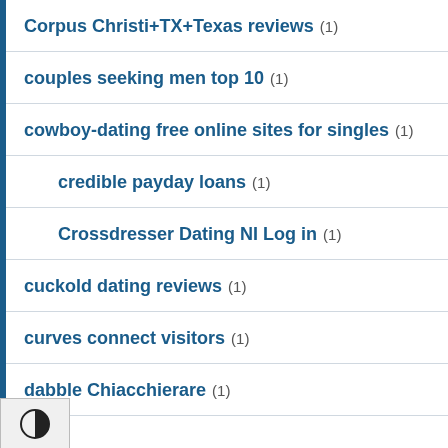Corpus Christi+TX+Texas reviews (1)
couples seeking men top 10 (1)
cowboy-dating free online sites for singles (1)
credible payday loans (1)
Crossdresser Dating NI Log in (1)
cuckold dating reviews (1)
curves connect visitors (1)
dabble Chiacchierare (1)